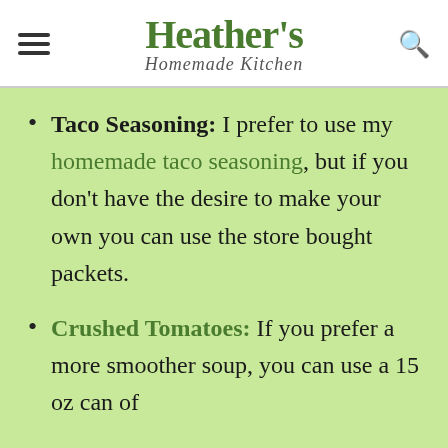Heather's Homemade Kitchen
Taco Seasoning: I prefer to use my homemade taco seasoning, but if you don't have the desire to make your own you can use the store bought packets.
Crushed Tomatoes: If you prefer a more smoother soup, you can use a 15 oz can of tomato sauce.